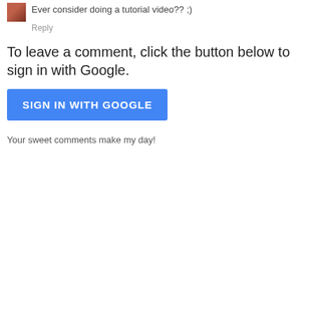Ever consider doing a tutorial video?? ;)
Reply
To leave a comment, click the button below to sign in with Google.
[Figure (other): Blue button labeled SIGN IN WITH GOOGLE]
Your sweet comments make my day!